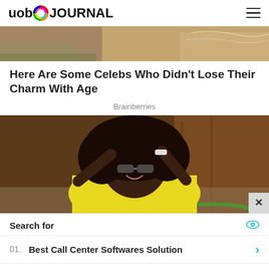uob JOURNAL
[Figure (photo): Partial photo of a celebrity in a sparkly outfit, cropped at top of page]
Here Are Some Celebs Who Didn't Lose Their Charm With Age
Brainberries
[Figure (photo): Woman with large afro hair wearing sunglasses and a yellow top, arms raised, smiling, outdoors in front of a wood door]
Search for
01. Best Call Center Softwares Solution
02. ID Fraud Protection Top Software
Yahoo! Search | Sponsored